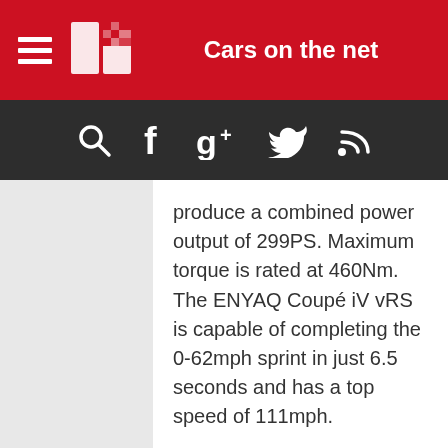Cars on the net
produce a combined power output of 299PS. Maximum torque is rated at 460Nm. The ENYAQ Coupé iV vRS is capable of completing the 0-62mph sprint in just 6.5 seconds and has a top speed of 111mph.